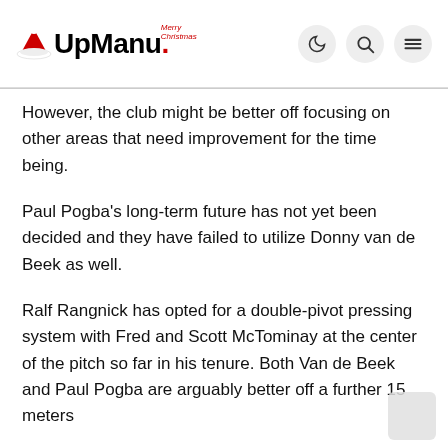UpManu
However, the club might be better off focusing on other areas that need improvement for the time being.
Paul Pogba's long-term future has not yet been decided and they have failed to utilize Donny van de Beek as well.
Ralf Rangnick has opted for a double-pivot pressing system with Fred and Scott McTominay at the center of the pitch so far in his tenure. Both Van de Beek and Paul Pogba are arguably better off a further 15 meters